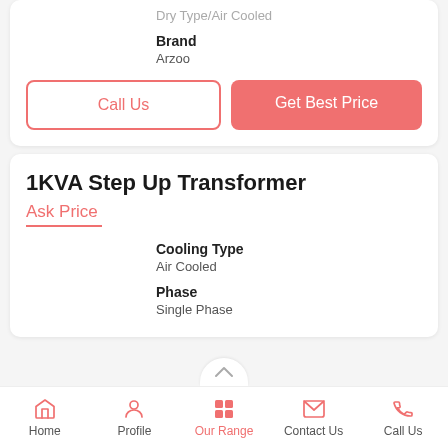Dry Type/Air Cooled
Brand
Arzoo
Call Us
Get Best Price
1KVA Step Up Transformer
Ask Price
Cooling Type
Air Cooled
Phase
Single Phase
Home | Profile | Our Range | Contact Us | Call Us